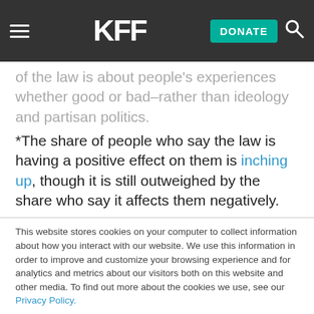KFF | DONATE
of the law is about people's experiences whether good or bad–rather than ideology and partisan politics.
*The share of people who say the law is having a positive effect on them is inching up, though it is still outweighed by the share who say it affects them negatively.
This website stores cookies on your computer to collect information about how you interact with our website. We use this information in order to improve and customize your browsing experience and for analytics and metrics about our visitors both on this website and other media. To find out more about the cookies we use, see our Privacy Policy.
Accept